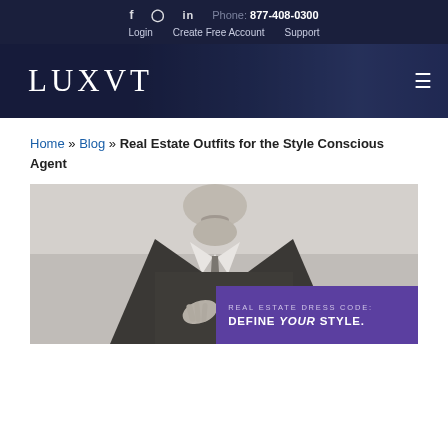f  Instagram  in  Phone: 877-408-0300  Login  Create Free Account  Support
[Figure (logo): LUXVT logo in white serif font on dark navy background with hamburger menu icon]
Home » Blog » Real Estate Outfits for the Style Conscious Agent
[Figure (photo): Black and white photo of a man in a suit adjusting his tie, with a purple overlay box reading REAL ESTATE DRESS CODE: DEFINE YOUR STYLE.]